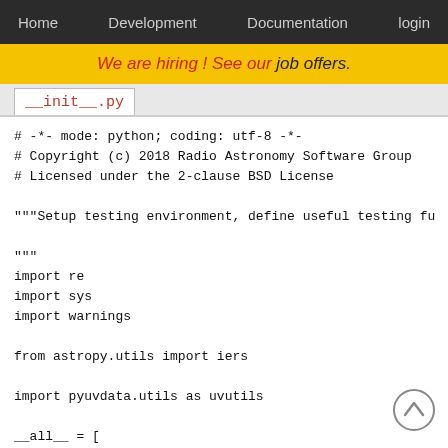Home   Development   Documentation   login
We are hiring ! See our job offers.
__init__.py
# -*- mode: python; coding: utf-8 -*-
# Copyright (c) 2018 Radio Astronomy Software Group
# Licensed under the 2-clause BSD License

"""Setup testing environment, define useful testing fu

"""
import re
import sys
import warnings

from astropy.utils import iers

import pyuvdata.utils as uvutils

__all__ = [
    "check_warnings",
    "clearWarnings",
    "checkWarnings",